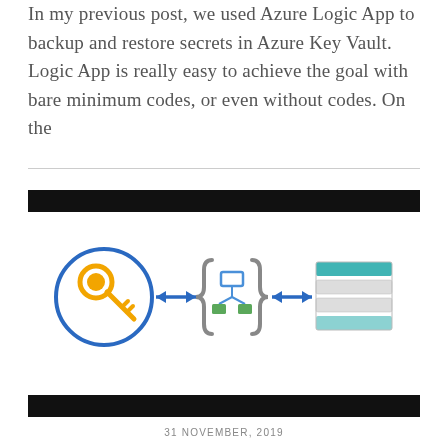In my previous post, we used Azure Logic App to backup and restore secrets in Azure Key Vault. Logic App is really easy to achieve the goal with bare minimum codes, or even without codes. On the
[Figure (infographic): Architecture diagram showing Azure Key Vault icon (key in blue circle) connected by double-headed blue arrows to Azure Logic App icon (curly braces with network diagram) connected by double-headed blue arrows to Azure Table Storage icon (teal and grey striped layers), representing integration flow between Key Vault, Logic App, and Storage.]
31 NOVEMBER, 2019